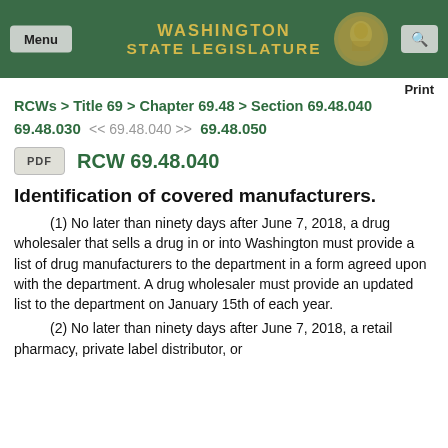Washington State Legislature
Print
RCWs > Title 69 > Chapter 69.48 > Section 69.48.040
69.48.030  << 69.48.040 >>  69.48.050
PDF   RCW 69.48.040
Identification of covered manufacturers.
(1) No later than ninety days after June 7, 2018, a drug wholesaler that sells a drug in or into Washington must provide a list of drug manufacturers to the department in a form agreed upon with the department. A drug wholesaler must provide an updated list to the department on January 15th of each year.
(2) No later than ninety days after June 7, 2018, a retail pharmacy, private label distributor, or